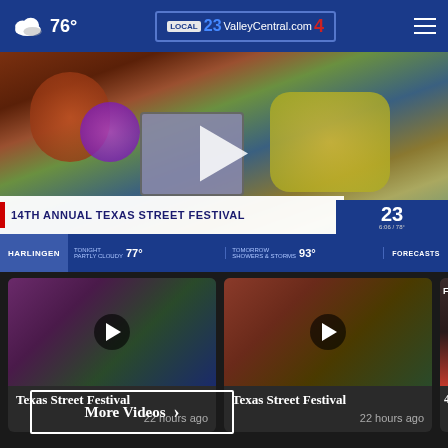76° | ValleyCentral.com | 23 | 4
[Figure (screenshot): Main news video thumbnail showing 14TH ANNUAL TEXAS STREET FESTIVAL with colorful parade floats. Lower third shows Harlingen weather: TONIGHT PARTLY CLOUDY 77°, TOMORROW SHOWERS & STORMS 93°, FORECASTS. Channel 23/4 badge visible.]
[Figure (screenshot): Video thumbnail for Texas Street Festival showing colorful parade scene with play button overlay]
Texas Street Festival
22 hours ago
[Figure (screenshot): Second video thumbnail for Texas Street Festival showing costumed characters with play button overlay]
Texas Street Festival
22 hours ago
[Figure (screenshot): Partial thumbnail showing FAMILY text and a person]
4Ever
More Videos →